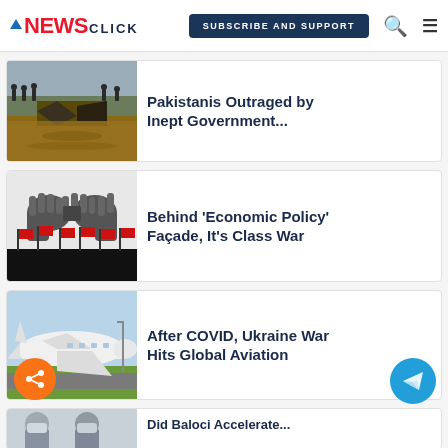NewsClick | SUBSCRIBE AND SUPPORT
[Figure (photo): Flood damage scene with people watching a broken road/bridge over brown floodwater]
Pakistanis Outraged by Inept Government...
[Figure (photo): Two fists bumping in black and white above silhouettes of protesters with red flags]
Behind 'Economic Policy' Façade, It's Class War
[Figure (photo): White commercial airplane on tarmac with green grass and sky background]
After COVID, Ukraine War Hits Global Aviation
[Figure (photo): Partial image of people wearing face masks]
Did Baloci Accelerate...